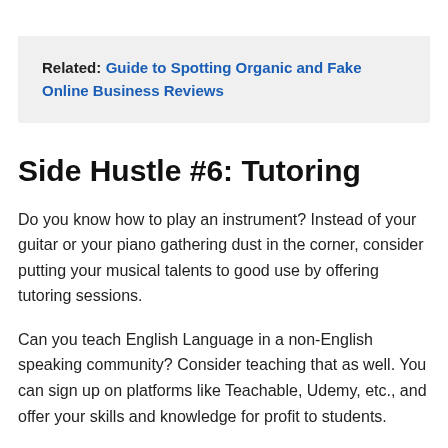Related: Guide to Spotting Organic and Fake Online Business Reviews
Side Hustle #6: Tutoring
Do you know how to play an instrument? Instead of your guitar or your piano gathering dust in the corner, consider putting your musical talents to good use by offering tutoring sessions.
Can you teach English Language in a non-English speaking community? Consider teaching that as well. You can sign up on platforms like Teachable, Udemy, etc., and offer your skills and knowledge for profit to students.